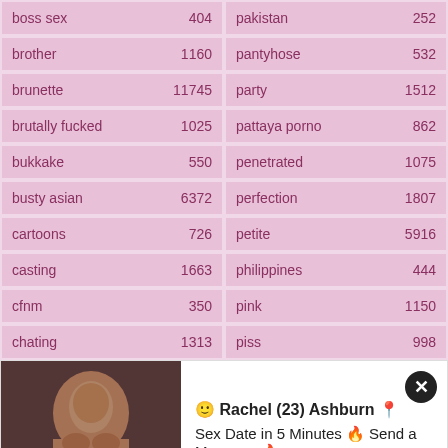| term | count |
| --- | --- |
| boss sex | 404 |
| pakistan | 252 |
| brother | 1160 |
| pantyhose | 532 |
| brunette | 11745 |
| party | 1512 |
| brutally fucked | 1025 |
| pattaya porno | 862 |
| bukkake | 550 |
| penetrated | 1075 |
| busty asian | 6372 |
| perfection | 1807 |
| cartoons | 726 |
| petite | 5916 |
| casting | 1663 |
| philippines | 444 |
| cfnm | 350 |
| pink | 1150 |
| chating | 1313 |
| piss | 998 |
| chinese dude | 360 |
| public place | 3107 |
[Figure (photo): Advertisement popup showing a woman's photo with text: Rachel (23) Ashburn — Sex Date in 5 Minutes — Send a Message]